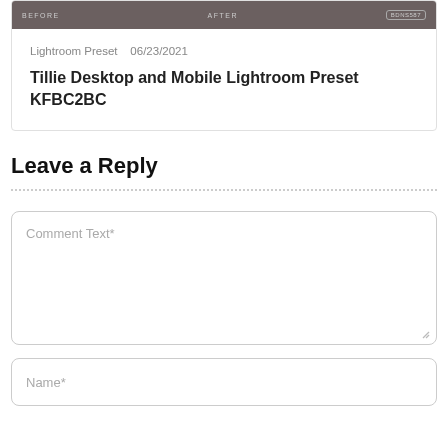[Figure (screenshot): Card showing a photo preset before/after image in dark gray/brown tones with BEFORE and AFTER labels and a badge reading something like BDNS587]
Lightroom Preset   06/23/2021
Tillie Desktop and Mobile Lightroom Preset KFBC2BC
Leave a Reply
Comment Text*
Name*